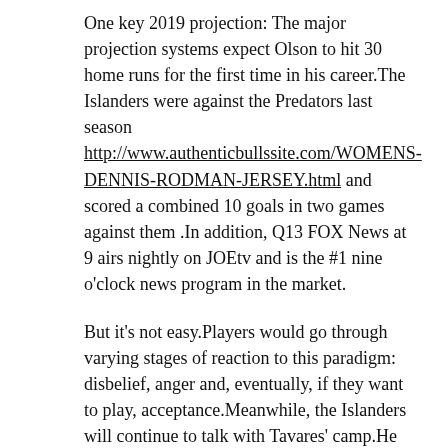One key 2019 projection: The major projection systems expect Olson to hit 30 home runs for the first time in his career.The Islanders were against the Predators last season http://www.authenticbullssite.com/WOMENS-DENNIS-RODMAN-JERSEY.html and scored a combined 10 goals in two games against them .In addition, Q13 FOX News at 9 airs nightly on JOEtv and is the #1 nine o'clock news program in the market.
But it's not easy.Players would go through varying stages of reaction to this paradigm: disbelief, anger and, eventually, if they want to play, acceptance.Meanwhile, the Islanders will continue to talk with Tavares' camp.He was accustomed to being elite, healthy and successful.13 at Penn State, with 20 kills and nine digs.His performance was a little on the reserved side, but the notes were there,